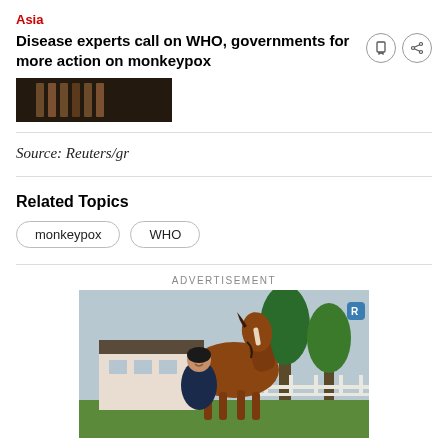Asia
Disease experts call on WHO, governments for more action on monkeypox
[Figure (photo): Dark image, partially visible — appears to be a close-up photo (article thumbnail)]
Source: Reuters/gr
Related Topics
monkeypox
WHO
ADVERTISEMENT
[Figure (photo): Advertisement photo showing a woman smiling next to a brown horse, standing in front of a stable building with trees in the background]